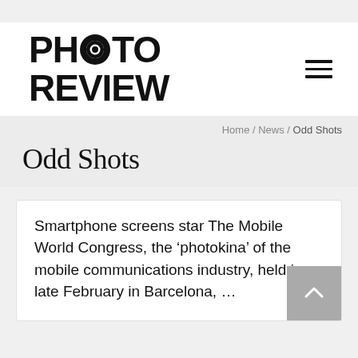PHOTO REVIEW
Home / News / Odd Shots
Odd Shots
Smartphone screens star The Mobile World Congress, the ‘photokina’ of the mobile communications industry, held in late February in Barcelona, …